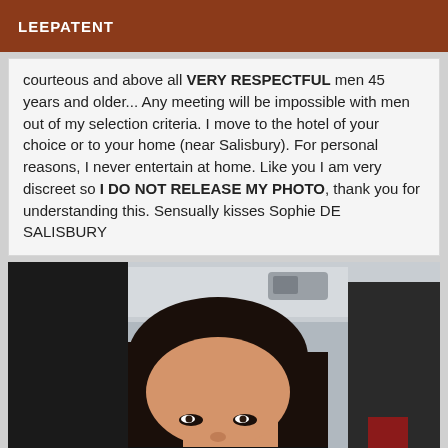LEEPATENT
courteous and above all VERY RESPECTFUL men 45 years and older... Any meeting will be impossible with men out of my selection criteria. I move to the hotel of your choice or to your home (near Salisbury). For personal reasons, I never entertain at home. Like you I am very discreet so I DO NOT RELEASE MY PHOTO, thank you for understanding this. Sensually kisses Sophie DE SALISBURY
[Figure (photo): A woman taking a selfie inside a car, dark hair, wearing dark clothing, car interior visible in background]